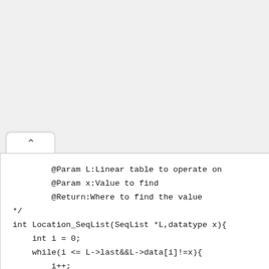@Param L:Linear table to operate on
@Param x:Value to find
@Return:Where to find the value
*/
int Location_SeqList(SeqList *L,datatype x){
    int i = 0;
    while(i <= L->last&&L->data[i]!=x){
        i++;
    }
    //Can't find
    if(i > L->Last){
        return -1;
    }
    //eureka
    else{